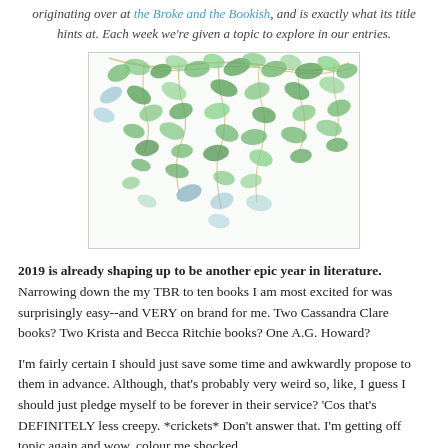originating over at the Broke and the Bookish, and is exactly what its title hints at. Each week we're given a topic to explore in our entries.
[Figure (illustration): Watercolor illustration of green leaves and vines hanging down against a white background]
2019 is already shaping up to be another epic year in literature. Narrowing down the my TBR to ten books I am most excited for was surprisingly easy--and VERY on brand for me. Two Cassandra Clare books? Two Krista and Becca Ritchie books? One A.G. Howard?
I'm fairly certain I should just save some time and awkwardly propose to them in advance. Although, that's probably very weird so, like, I guess I should just pledge myself to be forever in their service? 'Cos that's DEFINITELY less creepy. *crickets* Don't answer that. I'm getting off topic again and wow, colour me shocked.